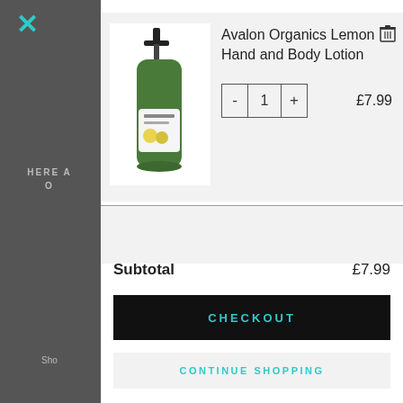[Figure (screenshot): Shopping cart UI overlay on an e-commerce website showing a product (Avalon Organics Lemon Hand and Body Lotion), quantity selector, price, subtotal, checkout button, and continue shopping link.]
HERE A O
Avalon Organics Lemon Hand and Body Lotion
- 1 +
£7.99
Subtotal
£7.99
CHECKOUT
CONTINUE SHOPPING
Sho